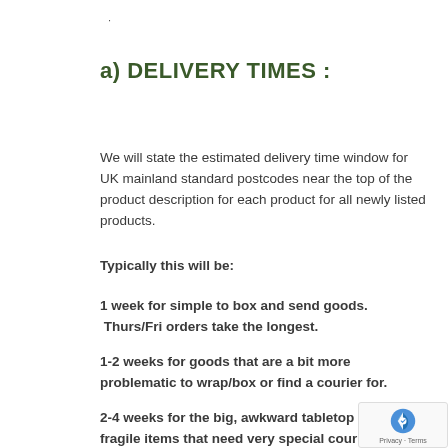a) DELIVERY TIMES :
We will state the estimated delivery time window for UK mainland standard postcodes near the top of the product description for each product for all newly listed products.
Typically this will be:
1 week for simple to box and send goods. Thurs/Fri orders take the longest.
1-2 weeks for goods that are a bit more problematic to wrap/box or find a courier for.
2-4 weeks for the big, awkward tabletop slabs fragile items that need very special couriers or which we deliver personally, and /or extra special